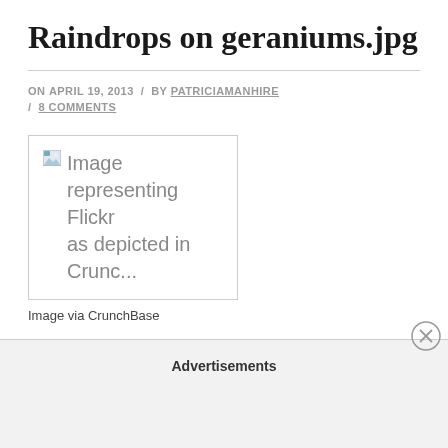Raindrops on geraniums.jpg
ON APRIL 19, 2013 / BY PATRICIAMANHIRE / 8 COMMENTS
[Figure (photo): Broken image placeholder showing 'Image representing Flickr as depicted in Crunc...' with a broken image icon]
Image via CrunchBase
Advertisements